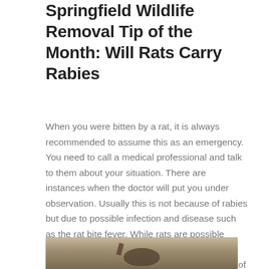Springfield Wildlife Removal Tip of the Month: Will Rats Carry Rabies
When you were bitten by a rat, it is always recommended to assume this as an emergency. You need to call a medical professional and talk to them about your situation. There are instances when the doctor will put you under observation. Usually this is not because of rabies but due to possible infection and disease such as the rat bite fever. While rats are possible carrier of the rabies virus, transmission is rare and those in the wild has shown no symptoms of the rabies virus.
[Figure (photo): Photo of a rat, partially visible at bottom of page, on a sandy or grain-covered surface]